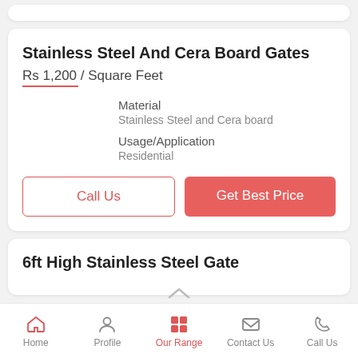Stainless Steel And Cera Board Gates
Rs 1,200 / Square Feet
Material
Stainless Steel and Cera board
Usage/Application
Residential
Call Us
Get Best Price
6ft High Stainless Steel Gate
Home  Profile  Our Range  Contact Us  Call Us